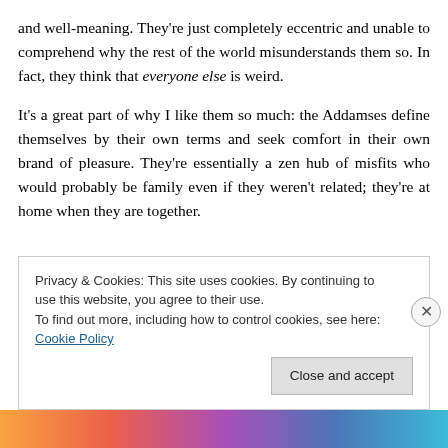and well-meaning. They're just completely eccentric and unable to comprehend why the rest of the world misunderstands them so. In fact, they think that everyone else is weird.
It's a great part of why I like them so much: the Addamses define themselves by their own terms and seek comfort in their own brand of pleasure. They're essentially a zen hub of misfits who would probably be family even if they weren't related; they're at home when they are together.
Privacy & Cookies: This site uses cookies. By continuing to use this website, you agree to their use. To find out more, including how to control cookies, see here: Cookie Policy